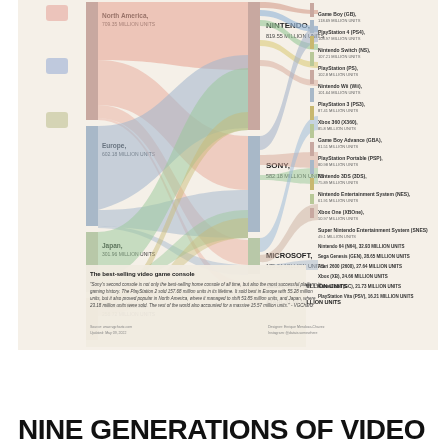[Figure (infographic): Sankey/alluvial diagram showing video game console sales by region (North America 709.35M, Europe 602.18M, Japan 301.96M, Rest of World 258.72M) flowing through manufacturers (Nintendo 819.55M, Sony 582.18M, Microsoft 175.34M, Sega 57.18M, Atari 31.94M) to individual consoles (Game Boy, PlayStation 4, Nintendo Switch, PlayStation, Nintendo Wii, PlayStation 3, Xbox 360, Game Boy Advance, PlayStation Portable, Nintendo 3DS, NES, Xbox One, Super NES, Nintendo 64, Sega Genesis, Atari 2600, Xbox 360, GameCube, PlayStation Vita, and others). Includes subtitle 'The best-selling video game console' with a PlayStation 2 description quote from VGChartz.]
NINE GENERATIONS OF VIDEO